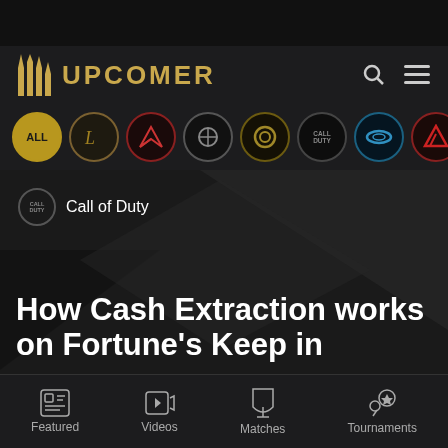UPCOMER
[Figure (screenshot): Upcomer esports website logo with golden shield/pillars icon and UPCOMER text in gold]
[Figure (infographic): Row of game category icons: ALL, League of Legends, Valorant, CS:GO, Overwatch, Call of Duty, Halo, Dota 2, Apex Legends, Rocket League]
Call of Duty
How Cash Extraction works on Fortune's Keep in
Featured  Videos  Matches  Tournaments